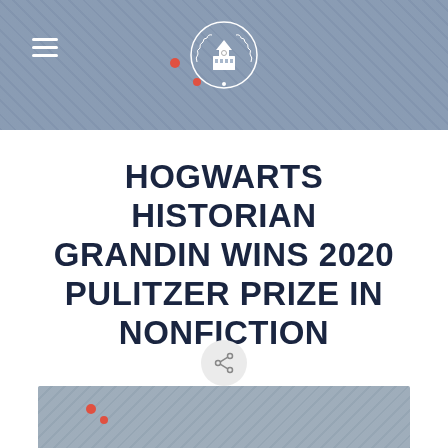[Figure (photo): Top background photo of a person in a denim jacket, muted blue-gray tones, with a hamburger menu icon and institution logo/seal overlay]
HOGWARTS HISTORIAN GRANDIN WINS 2020 PULITZER PRIZE IN NONFICTION
[Figure (other): Share button icon (circular gray button with share/network icon)]
[Figure (photo): Bottom partial photo of a person, cropped, same blue-gray denim style]